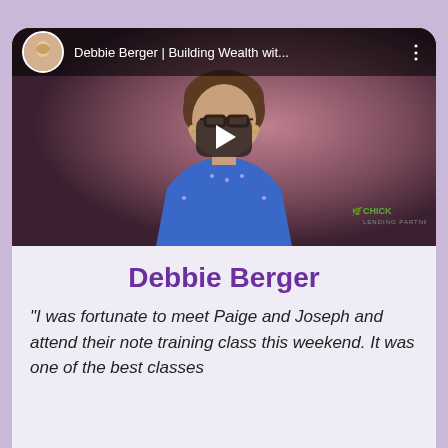[Figure (screenshot): YouTube video thumbnail showing a woman in a blue top with glasses, dark background with pink/purple gradient. Video title bar at top shows 'Debbie Berger | Building Wealth wit...' with a circular avatar photo of a blonde woman. A play button is centered on the video. A logo appears in the bottom right corner.]
Debbie Berger
“I was fortunate to meet Paige and Joseph and attend their note training class this weekend. It was one of the best classes